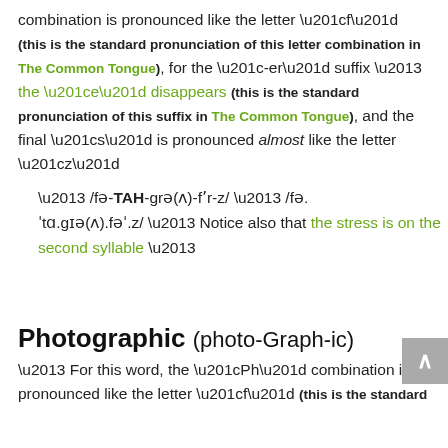combination is pronounced like the letter “f” (this is the standard pronunciation of this letter combination in The Common Tongue), for the “-er” suffix – the “e” disappears (this is the standard pronunciation of this suffix in The Common Tongue), and the final “s” is pronounced almost like the letter “z”
– /fə-TAH-grə(ʌ)-fʼr-z/ – /fə.ˈtɑ.gɪə(ʌ).fəˈ.z/ – Notice also that the stress is on the second syllable –
Photographic (photo-Graph-ic)
– For this word, the “Ph” combination is pronounced like the letter “f” (this is the standard